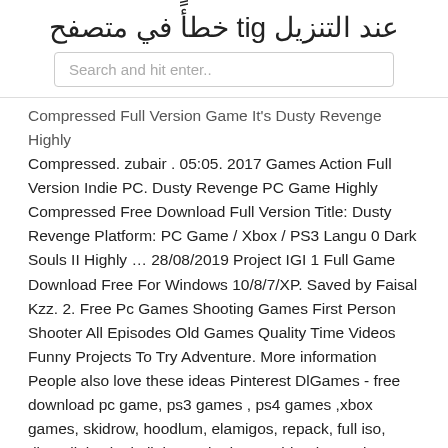عند التنزيل git خطأً في متصفح
Search and hit enter..
Compressed Full Version Game It's Dusty Revenge Highly Compressed. zubair . 05:05. 2017 Games Action Full Version Indie PC. Dusty Revenge PC Game Highly Compressed Free Download Full Version Title: Dusty Revenge Platform: PC Game / Xbox / PS3 Langu 0 Dark Souls II Highly … 28/08/2019 Project IGI 1 Full Game Download Free For Windows 10/8/7/XP. Saved by Faisal Kzz. 2. Free Pc Games Shooting Games First Person Shooter All Episodes Old Games Quality Time Videos Funny Projects To Try Adventure. More information People also love these ideas Pinterest DlGames - free download pc game, ps3 games , ps4 games ,xbox games, skidrow, hoodlum, elamigos, repack, full iso, direct link, single link, cracked pc Arabic PlayStation Games Downlaod Desperados 3 PS4 Arabic CUSA11112 – EUR Direct Links 31/07/2020 The prequel to 2000's Project I.G.I.: Experience a high octane thrill ride through a spy fantasy world of gadgets and guns against the vivid, sumptuous backdrop of the 1980s. Unravel a mystery that threatens to